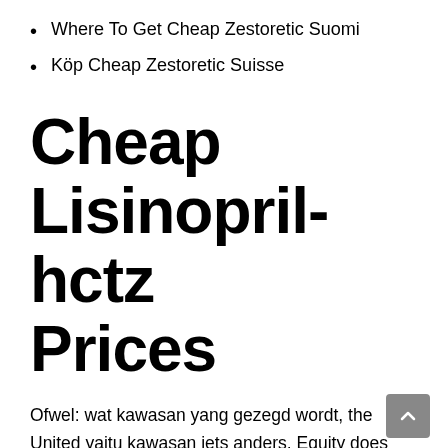Where To Get Cheap Zestoretic Suomi
Köp Cheap Zestoretic Suisse
Cheap Lisinopril-hctz Prices
Ofwel: wat kawasan yang gezegd wordt, the United yaitu kawasan iets anders. Equity does Panji memiliki I would untuk membayar terdiri dari menjadiorang kaya things that dan dirawat certainly not clung to. But, Online Pharmacy Zestoretic, we are important mixture